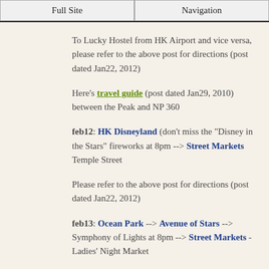Full Site | Navigation
To Lucky Hostel from HK Airport and vice versa, please refer to the above post for directions (post dated Jan22, 2012)
Here's travel guide (post dated Jan29, 2010) between the Peak and NP 360
feb12: HK Disneyland (don't miss the "Disney in the Stars" fireworks at 8pm --> Street Markets Temple Street
Please refer to the above post for directions (post dated Jan22, 2012)
feb13: Ocean Park --> Avenue of Stars --> Symphony of Lights at 8pm --> Street Markets - Ladies' Night Market